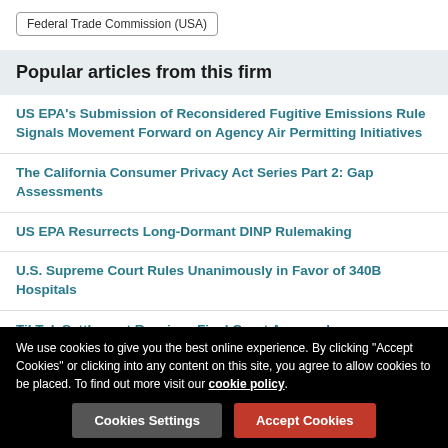Federal Trade Commission (USA)
Popular articles from this firm
US EPA's Submission of Reconsidered Fugitive Emissions Rule Signals Movement Forward on Agency Air Permitting Initiatives
The California Consumer Privacy Act Series Part 2: Gap Assessments
US EPA Resurrects Long-Dormant DINP Rulemaking
U.S. Supreme Court Rules Unanimously in Favor of 340B Hospitals
TikTok Settlement Receives Final Court Approval
We use cookies to give you the best online experience. By clicking "Accept Cookies" or clicking into any content on this site, you agree to allow cookies to be placed. To find out more visit our cookie policy.